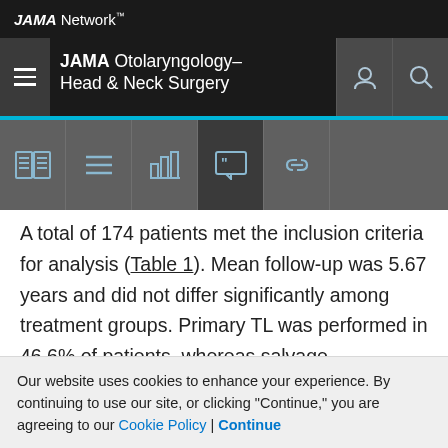JAMA Network
JAMA Otolaryngology–Head & Neck Surgery
A total of 174 patients met the inclusion criteria for analysis (Table 1). Mean follow-up was 5.67 years and did not differ significantly among treatment groups. Primary TL was performed in 46.6% of patients, whereas salvage laryngectomy was performed after primary chemoradiotherapy failure in 18.4% and after primary radiotherapy failure in 35.1%. Adjuvant postoperative therapy (radiotherapy or chemoradiotherapy) was used in 81% (n = 66) of 81 patients who underwent primary
Our website uses cookies to enhance your experience. By continuing to use our site, or clicking "Continue," you are agreeing to our Cookie Policy | Continue